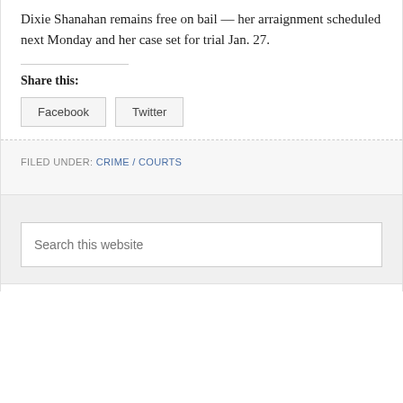Dixie Shanahan remains free on bail — her arraignment scheduled next Monday and her case set for trial Jan. 27.
Share this:
Facebook  Twitter
FILED UNDER: CRIME / COURTS
Search this website